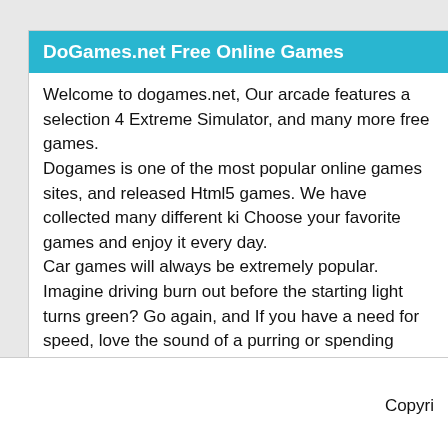DoGames.net Free Online Games
Welcome to dogames.net, Our arcade features a selection 4 Extreme Simulator, and many more free games. Dogames is one of the most popular online games sites, and released Html5 games. We have collected many different ki Choose your favorite games and enjoy it every day. Car games will always be extremely popular. Imagine driving burn out before the starting light turns green? Go again, and If you have a need for speed, love the sound of a purring or spending hours in front of the computer screen with an adre games, rallies, desert races, Formula 1 challenges, NASCA sunshine. Compete against one or more drivers, with or with
Copyri